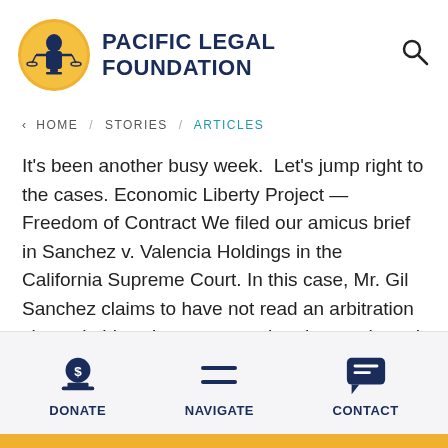[Figure (logo): Pacific Legal Foundation logo — circular yellow badge with a figure holding scales of justice, next to bold navy text reading PACIFIC LEGAL FOUNDATION]
HOME / STORIES / ARTICLES
It's been another busy week.  Let's jump right to the cases. Economic Liberty Project — Freedom of Contract We filed our amicus brief in Sanchez v. Valencia Holdings in the California Supreme Court. In this case, Mr. Gil Sanchez claims to have not read an arbitration clause in his sales contract when he purchased a … …
DONATE   NAVIGATE   CONTACT